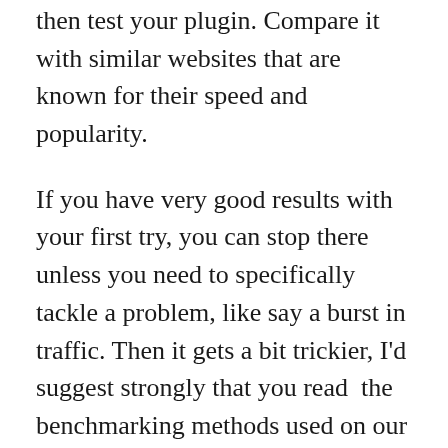then test your plugin. Compare it with similar websites that are known for their speed and popularity.
If you have very good results with your first try, you can stop there unless you need to specifically tackle a problem, like say a burst in traffic. Then it gets a bit trickier, I'd suggest strongly that you read  the benchmarking methods used on our tests before trying your own tests.
If you were wondering, Colorlib uses W3TC in combination with Memcached for object and